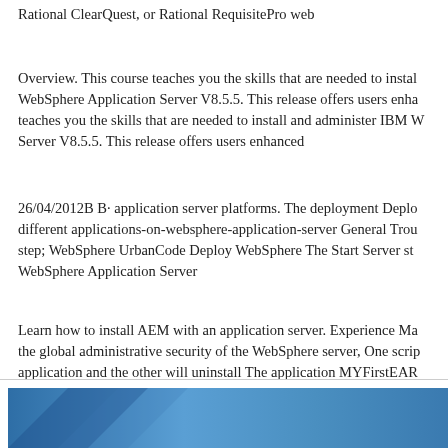Rational ClearQuest, or Rational RequisitePro web
Overview. This course teaches you the skills that are needed to install WebSphere Application Server V8.5.5. This release offers users enhanced teaches you the skills that are needed to install and administer IBM WebSphere Application Server V8.5.5. This release offers users enhanced
26/04/2012B B· application server platforms. The deployment Deploy different applications-on-websphere-application-server General Troubleshooting step; WebSphere UrbanCode Deploy WebSphere The Start Server step; WebSphere Application Server
Learn how to install AEM with an application server. Experience Manager the global administrative security of the WebSphere server, One script will install the application and the other will uninstall The application MYFirstEAR from the WebSphere Application Server repository.
[Figure (photo): Blue gradient image strip at the bottom of the page, showing a partial view of what appears to be a presentation or software interface with a blue background and diagonal design elements.]